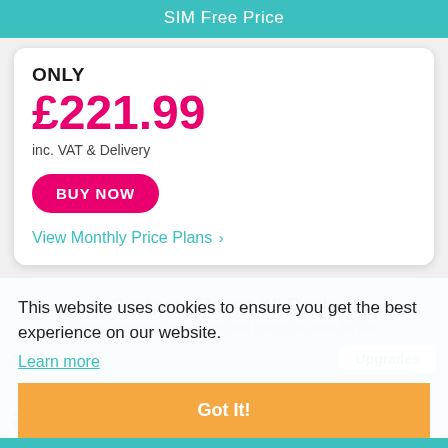SIM Free Price
ONLY
£221.99
inc. VAT & Delivery
BUY NOW
View Monthly Price Plans ›
Compare Honor X8 Deals
Search, compare and buy the best Honor X8 deals for you.
New Contract
Upgrades
This website uses cookies to ensure you get the best experience on our website.
Learn more
Got It!
Sorted By
Popularity
Filter
All Deals